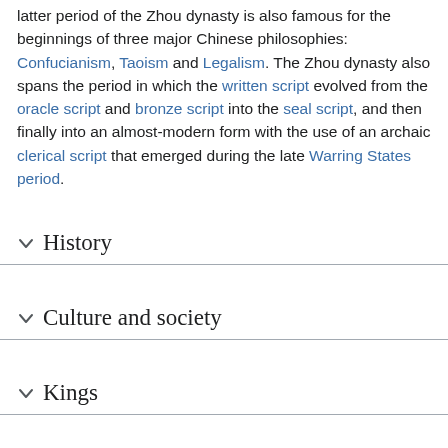latter period of the Zhou dynasty is also famous for the beginnings of three major Chinese philosophies: Confucianism, Taoism and Legalism. The Zhou dynasty also spans the period in which the written script evolved from the oracle script and bronze script into the seal script, and then finally into an almost-modern form with the use of an archaic clerical script that emerged during the late Warring States period.
History
Culture and society
Kings